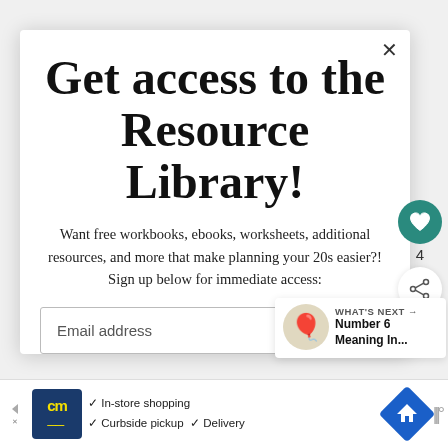Get access to the Resource Library!
Want free workbooks, ebooks, worksheets, additional resources, and more that make planning your 20s easier?! Sign up below for immediate access:
Email address
WHAT'S NEXT → Number 6 Meaning In...
[Figure (screenshot): Advertisement bar at bottom with cm logo, checkmarks for In-store shopping, Curbside pickup, Delivery, a blue diamond navigation icon, and sound wave icon]